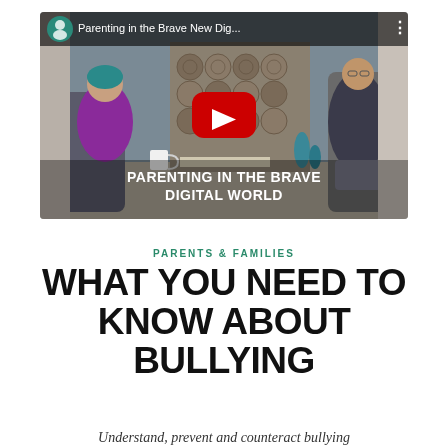[Figure (screenshot): YouTube video thumbnail showing two people seated in chairs in front of a fireplace with stacked wood logs. A woman in a purple cardigan sits on the left, and a man in a dark jacket sits on the right. A large YouTube play button (red with white triangle) is centered on the image. A top bar shows a channel icon, the video title 'Parenting in the Brave New Dig...' in white text, and a three-dot menu. White bold text at the bottom reads 'PARENTING IN THE BRAVE DIGITAL WORLD'.]
PARENTS & FAMILIES
WHAT YOU NEED TO KNOW ABOUT BULLYING
Understand, prevent and counteract bullying